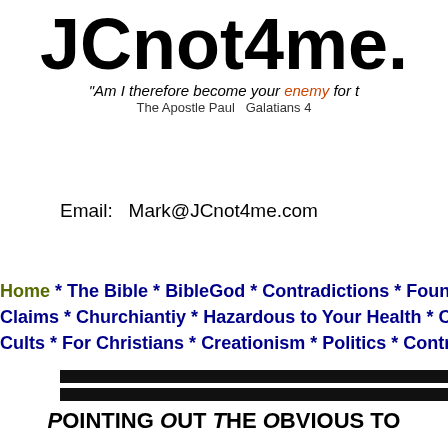JCnot4me.
“Am I therefore become your enemy for t…
The Apostle Paul   Galatians 4…
Email:   Mark@JCnot4me.com
Home * The Bible * BibleGod * Contradictions * Foundation of S… Claims * Churchiantiy * Hazardous to Your Health * Christian M… Cults * For Christians * Creationism * Politics * Contra Craig * N…
Pointing Out The Obvious to…